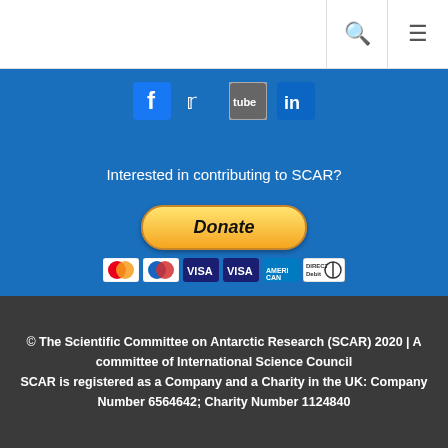Navigation bar with search and menu icons
[Figure (illustration): Social media icons for Facebook, Twitter, YouTube, LinkedIn on blue background]
Interested in contributing to SCAR?
[Figure (illustration): PayPal Donate button with payment logos: MasterCard, Maestro, Visa, Visa Debit, American Express, Direct Debit]
© The Scientific Committee on Antarctic Research (SCAR) 2020 | A committee of International Science Council
SCAR is registered as a Company and a Charity in the UK: Company Number 6564642; Charity Number 1124840